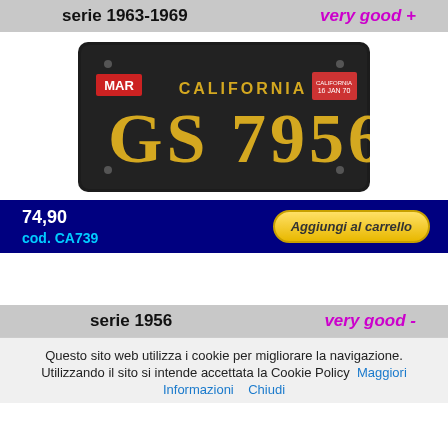serie 1963-1969   very good +
[Figure (photo): California license plate GS 7956, black background with yellow text, MAR month sticker and registration sticker, vintage 1963-1969 series]
74,90
cod. CA739
Aggiungi al carrello
serie 1956   very good -
Questo sito web utilizza i cookie per migliorare la navigazione. Utilizzando il sito si intende accettata la Cookie Policy  Maggiori Informazioni    Chiudi